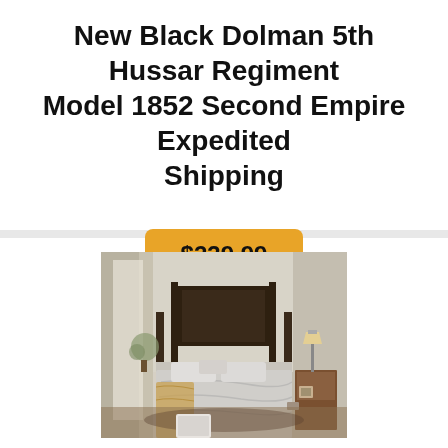New Black Dolman 5th Hussar Regiment Model 1852 Second Empire Expedited Shipping
$239.99
[Figure (photo): Bedroom scene with a four-poster bed dressed in light grey/silver bedding and pillows, a warm throw blanket, wooden nightstand with lamp, large windows with curtains, and a rug on the floor]